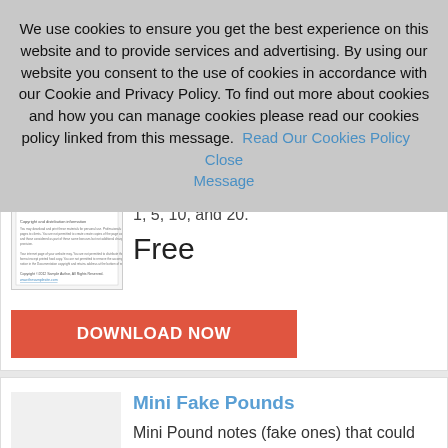We use cookies to ensure you get the best experience on this website and to provide services and advertising. By using our website you consent to the use of cookies in accordance with our Cookie and Privacy Policy. To find out more about cookies and how you can manage cookies please read our cookies policy linked from this message.  Read Our Cookies Policy    Close Message
1, 5, 10, and 20.
Free
DOWNLOAD NOW
Mini Fake Pounds
Mini Pound notes (fake ones) that could be useful for an alternative style